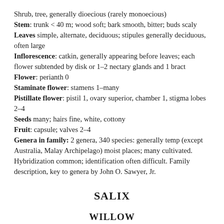Shrub, tree, generally dioecious (rarely monoecious) Stem: trunk < 40 m; wood soft; bark smooth, bitter; buds scaly Leaves simple, alternate, deciduous; stipules generally deciduous, often large Inflorescence: catkin, generally appearing before leaves; each flower subtended by disk or 1–2 nectary glands and 1 bract Flower: perianth 0 Staminate flower: stamens 1–many Pistillate flower: pistil 1, ovary superior, chamber 1, stigma lobes 2–4 Seeds many; hairs fine, white, cottony Fruit: capsule; valves 2–4 Genera in family: 2 genera, 340 species: generally temp (except Australia, Malay Archipelago) moist places; many cultivated. Hybridization common; identification often difficult. Family description, key to genera by John O. Sawyer, Jr.
SALIX
WILLOW